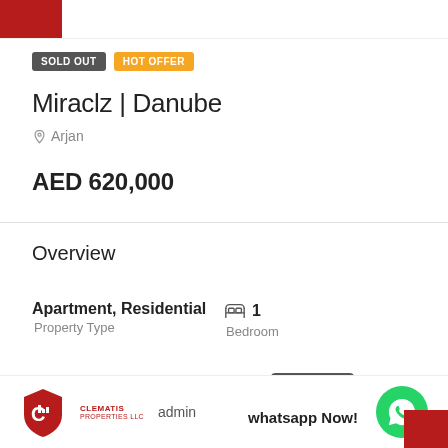[Figure (logo): Red logo block top left]
SOLD OUT  HOT OFFER
Miraclz | Danube
📍 Arjan
AED 620,000
Overview
Apartment, Residential
Property Type
1
Bedroom
2
1
CLEMATIS PROPERTIES LLC  admin  whatsapp Now!